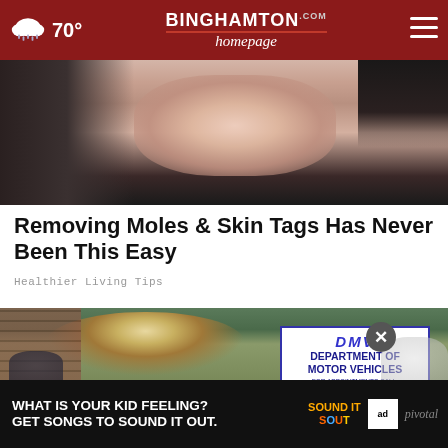70° | Binghamton Homepage
[Figure (photo): Close-up photo of a woman's lower face applying something near her lips, dark hair visible]
Removing Moles & Skin Tags Has Never Been This Easy
Healthier Living Tips
[Figure (photo): Blonde woman smiling in front of a DMV Department of Motor Vehicles sign]
[Figure (screenshot): Ad banner: WHAT IS YOUR KID FEELING? GET SONGS TO SOUND IT OUT. Sound It Out / Ad Council / pivotal]